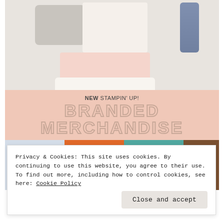[Figure (photo): Product photo showing Stampin' Up! branded merchandise including a black floral bag, cards/notebooks, a blue tumbler, pink striped pouch, and floral pouch on a light gray background]
NEW STAMPIN' UP! BRANDED MERCHANDISE
[Figure (photo): Bottom strip showing colorful card/paper products in blue-gray, orange, teal, and brown on white background, with 'THE KITS' text in teal outline letters]
Privacy & Cookies: This site uses cookies. By continuing to use this website, you agree to their use.
To find out more, including how to control cookies, see here: Cookie Policy
Close and accept